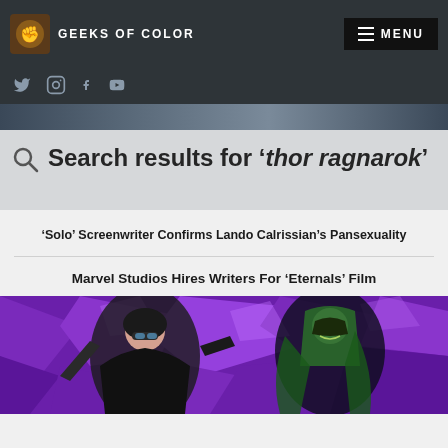GEEKS OF COLOR — MENU
[Figure (screenshot): Social media icons: Twitter, Instagram, Facebook, YouTube on dark background]
[Figure (photo): Dark banner strip with partial background image]
Search results for 'thor ragnarok'
'Solo' Screenwriter Confirms Lando Calrissian's Pansexuality
Marvel Studios Hires Writers For 'Eternals' Film
[Figure (illustration): Comic book artwork showing two characters on a purple crystalline background — a female character in black costume with goggles and a green-caped villain]